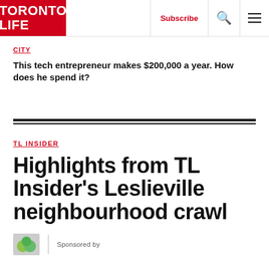TORONTO LIFE
CITY
This tech entrepreneur makes $200,000 a year. How does he spend it?
TL INSIDER
Highlights from TL Insider's Leslieville neighbourhood crawl
Sponsored by